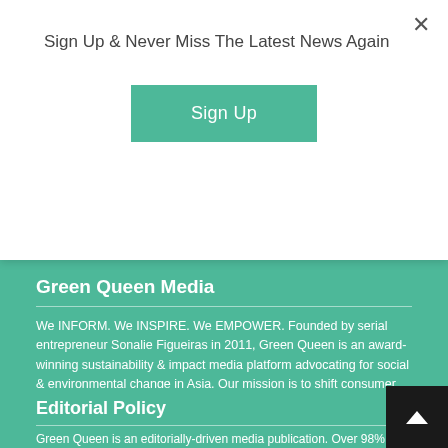Sign Up & Never Miss The Latest News Again
Sign Up
Green Queen Media
We INFORM. We INSPIRE. We EMPOWER. Founded by serial entrepreneur Sonalie Figueiras in 2011, Green Queen is an award-winning sustainability & impact media platform advocating for social & environmental change in Asia. Our mission is to shift consumer behaviour through our authentic, original and ground-breaking content.
Read More...
[Figure (illustration): Social media icons: Facebook, Twitter, Instagram, YouTube, Flipboard]
Editorial Policy
Green Queen is an editorially-driven media publication. Over 98% of c